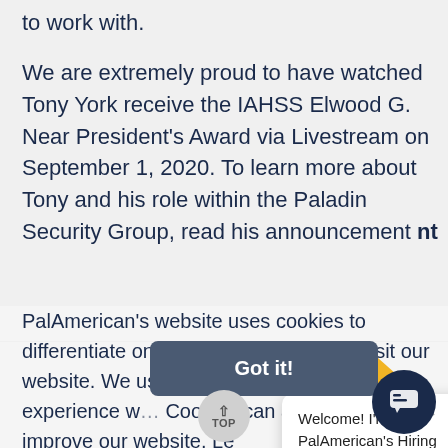to work with.
We are extremely proud to have watched Tony York receive the IAHSS Elwood G. Near President's Award via Livestream on September 1, 2020. To learn more about Tony and his role within the Paladin Security Group, read his announcement
PalAmerican's website uses cookies to differentiate one user from others that visit our website. We use this info better user experience w Cookies can also provide improve our website. Le achievement by lea p
Welcome! I'm PalAmerican's Hiring Helper. Can I assist you?
Got it!
TOP